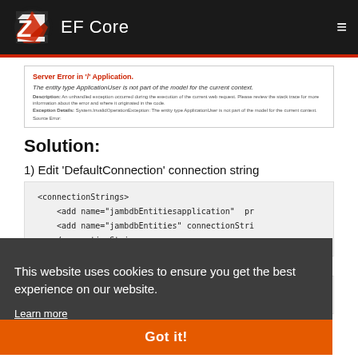EF Core
[Figure (screenshot): Server error page screenshot showing 'Server Error in / Application. The entity type ApplicationUser is not part of the model for the current context.']
Solution:
1) Edit 'DefaultConnection' connection string
<connectionStrings>
    <add name="jambdbEntitiesapplication"  pr
    <add name="jambdbEntities" connectionStri
    </connectionStrings>
This website uses cookies to ensure you get the best experience on our website.
Learn more
2) Modify the code:
Got it!
{